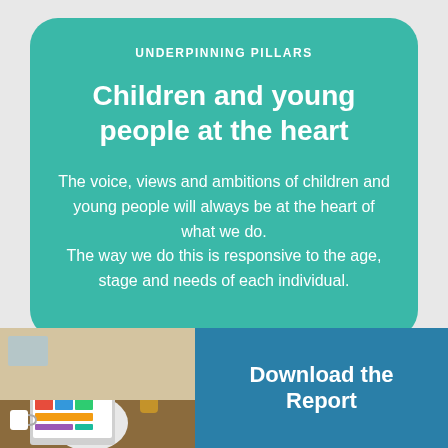UNDERPINNING PILLARS
Children and young people at the heart
The voice, views and ambitions of children and young people will always be at the heart of what we do. The way we do this is responsive to the age, stage and needs of each individual.
[Figure (photo): Person sitting at a table viewing a laptop/tablet showing colorful content]
Download the Report